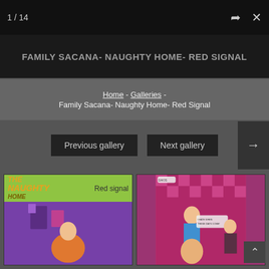1 / 14
FAMILY SACANA- NAUGHTY HOME- RED SIGNAL
Home - Galleries - Family Sacana- Naughty Home- Red Signal
← Previous gallery  Next gallery →
[Figure (illustration): Two comic book thumbnail images side by side. Left: 'The Naughty Home - Red signal' cover with a cartoon character in a purple room. Right: A scene with characters in a pink/checkered room with speech bubbles.]